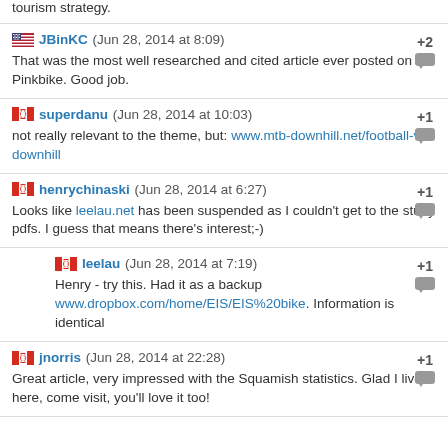tourism strategy.
JBinKC (Jun 28, 2014 at 8:09) +2
That was the most well researched and cited article ever posted on Pinkbike. Good job.
superdanu (Jun 28, 2014 at 10:03) +1
not really relevant to the theme, but: www.mtb-downhill.net/football-vs-downhill
henrychinaski (Jun 28, 2014 at 6:27) +1
Looks like leelau.net has been suspended as I couldn't get to the study pdfs. I guess that means there's interest;-)
leelau (Jun 28, 2014 at 7:19) +1
Henry - try this. Had it as a backup www.dropbox.com/home/EIS/EIS%20bike. Information is identical
jnorris (Jun 28, 2014 at 22:28) +1
Great article, very impressed with the Squamish statistics. Glad I live here, come visit, you'll love it too!